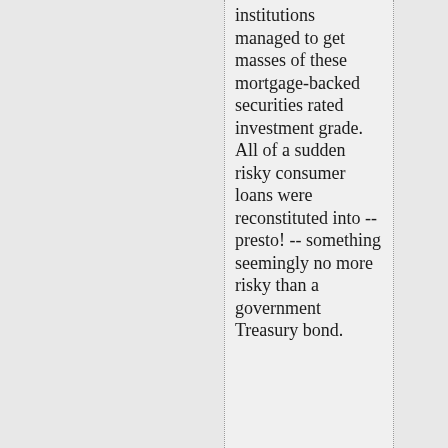institutions managed to get masses of these mortgage-backed securities rated investment grade. All of a sudden risky consumer loans were reconstituted into -- presto! -- something seemingly no more risky than a government Treasury bond.